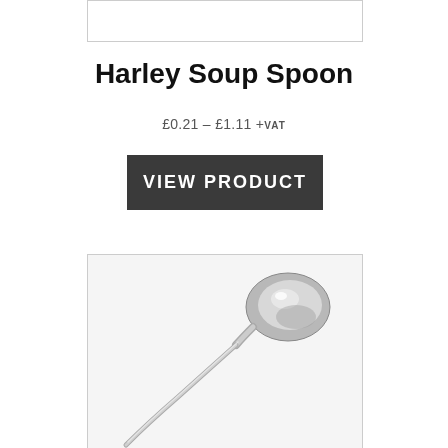[Figure (photo): Top partial product image placeholder box]
Harley Soup Spoon
£0.21 – £1.11 +VAT
VIEW PRODUCT
[Figure (photo): Photo of a stainless steel soup spoon with a long handle, bowl of spoon visible in upper right, handle extending diagonally toward lower left]